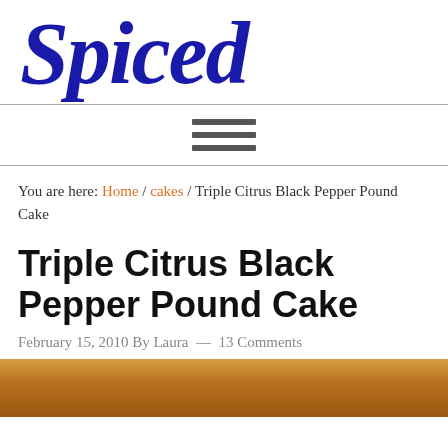Spiced
[Figure (illustration): Hamburger menu icon (three horizontal lines)]
You are here: Home / cakes / Triple Citrus Black Pepper Pound Cake
Triple Citrus Black Pepper Pound Cake
February 15, 2010 By Laura — 13 Comments
[Figure (photo): Partial photo of pound cake at bottom of page]